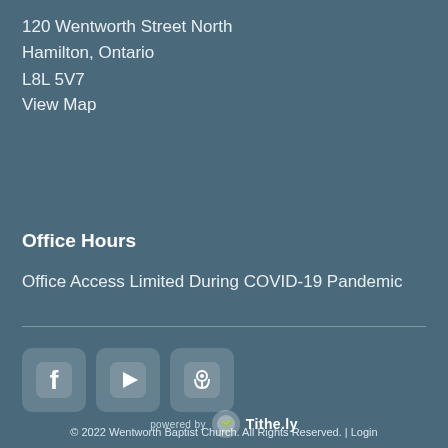120 Wentworth Street North
Hamilton, Ontario
L8L 5V7
View Map
Office Hours
Office Access Limited During COVID-19 Pandemic
[Figure (other): Social media icons: Facebook, YouTube, Podcast]
© 2022 Wentworth Baptist Church. All Rights Reserved. | Login
powered by Tithe.ly